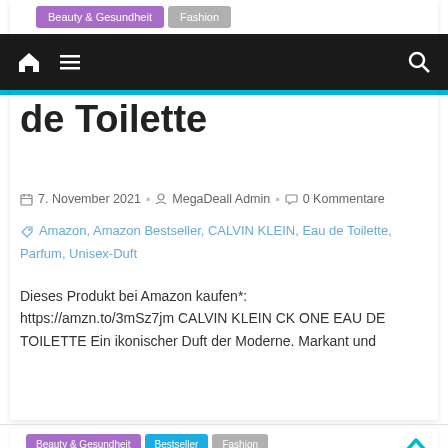Beauty & Gesundheit | Fashion
de Toilette
7. November 2021  MegaDeall Admin  0 Kommentare
Amazon, Amazon Bestseller, CALVIN KLEIN, Eau de Toilette, Parfum, Unisex-Duft
Dieses Produkt bei Amazon kaufen*: https://amzn.to/3mSz7jm CALVIN KLEIN CK ONE EAU DE TOILETTE Ein ikonischer Duft der Moderne. Markant und
Weiterlesen
Beauty & Gesundheit  Bestseller  Fashion
DAVIDOFF Cool Water Man Eau de